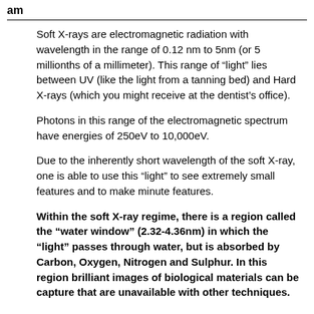am
Soft X-rays are electromagnetic radiation with wavelength in the range of 0.12 nm to 5nm (or 5 millionths of a millimeter). This range of “light” lies between UV (like the light from a tanning bed) and Hard X-rays (which you might receive at the dentist’s office).
Photons in this range of the electromagnetic spectrum have energies of 250eV to 10,000eV.
Due to the inherently short wavelength of the soft X-ray, one is able to use this “light” to see extremely small features and to make minute features.
Within the soft X-ray regime, there is a region called the “water window” (2.32-4.36nm) in which the “light” passes through water, but is absorbed by Carbon, Oxygen, Nitrogen and Sulphur. In this region brilliant images of biological materials can be capture that are unavailable with other techniques.